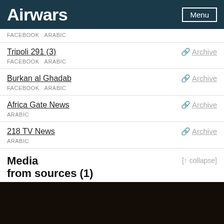Airwars   Menu
FACEBOOK  ARABIC
Tripoli 291 (3)   Archive
FACEBOOK  ARABIC
Burkan al Ghadab   Archive
FACEBOOK  ARABIC
Africa Gate News   Archive
ARABIC
218 TV News   Archive
ARABIC
Media from sources (1)
[Figure (photo): Dark background photo, appears to be a nighttime or low-light scene]